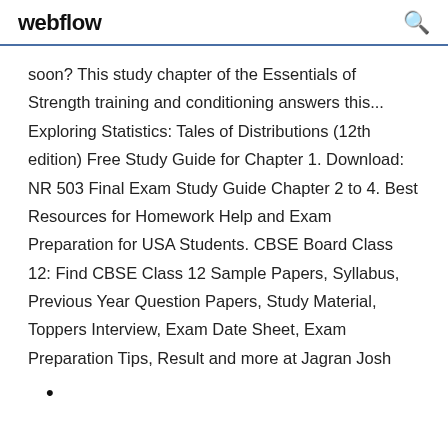webflow
soon? This study chapter of the Essentials of Strength training and conditioning answers this... Exploring Statistics: Tales of Distributions (12th edition) Free Study Guide for Chapter 1. Download: NR 503 Final Exam Study Guide Chapter 2 to 4. Best Resources for Homework Help and Exam Preparation for USA Students. CBSE Board Class 12: Find CBSE Class 12 Sample Papers, Syllabus, Previous Year Question Papers, Study Material, Toppers Interview, Exam Date Sheet, Exam Preparation Tips, Result and more at Jagran Josh
•